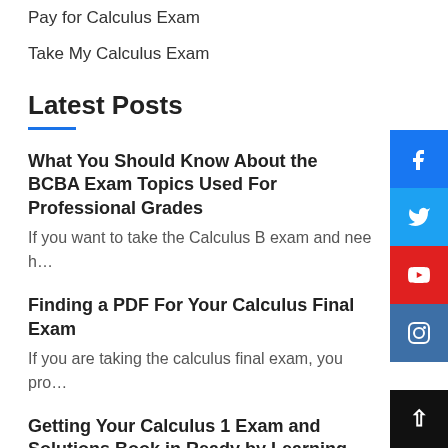Pay for Calculus Exam
Take My Calculus Exam
Latest Posts
What You Should Know About the BCBA Exam Topics Used For Professional Grades
If you want to take the Calculus B exam and need h…
Finding a PDF For Your Calculus Final Exam
If you are taking the calculus final exam, you pro…
Getting Your Calculus 1 Exam and Solutions Book in Ready by Learning These Three Simple Steps